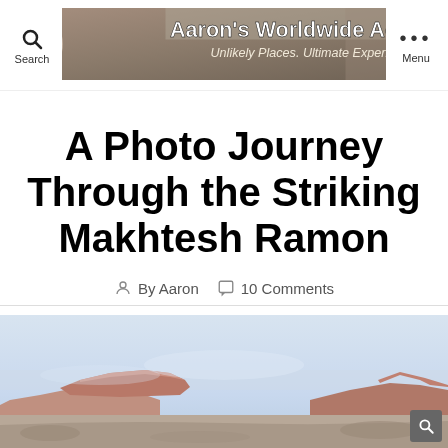Aaron's Worldwide Adventures — Unlikely Places. Ultimate Experiences.
A Photo Journey Through the Striking Makhtesh Ramon
By Aaron   10 Comments
[Figure (photo): Landscape photo of Makhtesh Ramon crater showing reddish-brown rocky formations against a pale blue sky]